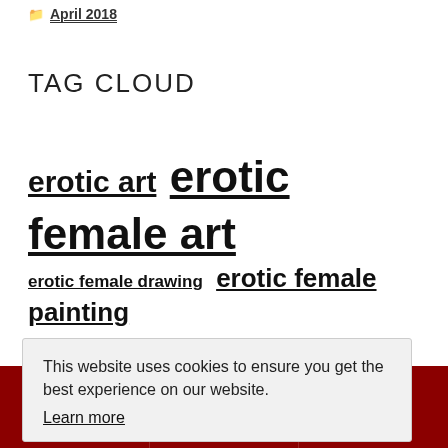April 2018
TAG CLOUD
erotic art  erotic female art  erotic female drawing  erotic female painting  erotic male art  erotic male drawing  ...nan art  ...ude
This website uses cookies to ensure you get the best experience on our website. Learn more